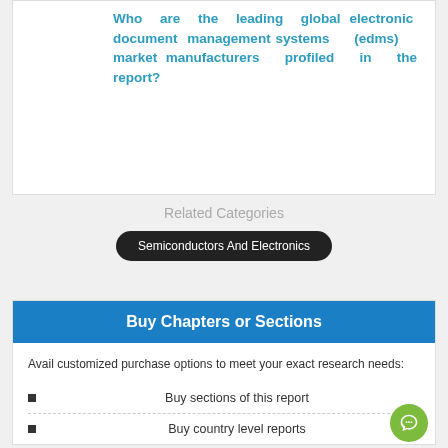Who are the leading global electronic document management systems (edms) market manufacturers profiled in the report?
Related Categories
Semiconductors And Electronics
Buy Chapters or Sections
Avail customized purchase options to meet your exact research needs:
Buy sections of this report
Buy country level reports